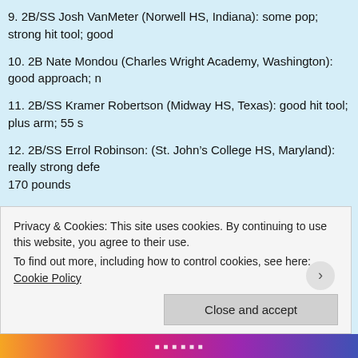9. 2B/SS Josh VanMeter (Norwell HS, Indiana): some pop; strong hit tool; good
10. 2B Nate Mondou (Charles Wright Academy, Washington): good approach; n
11. 2B/SS Kramer Robertson (Midway HS, Texas): good hit tool; plus arm; 55 s
12. 2B/SS Errol Robinson: (St. John’s College HS, Maryland): really strong defe 170 pounds
13. 2B/SS Elliot Barzilli (Palisades Charter HS, California): above-average spee
14. 2B/SS Trevor Morrison (Archbishop Murphy HS, Washington): strong enou 0, 180 pounds
15. 2B Jordan Cowan (Kentlake HS, Washington): plus defender
16. 2B/RHP Hector Gutierrez (Western International HS, Michigan): quick hand pounds
17. 2B Felipe Rivera Adorno (Colegio De La Salle, Puerto Rico): plus speed
Privacy & Cookies: This site uses cookies. By continuing to use this website, you agree to their use. To find out more, including how to control cookies, see here: Cookie Policy
Close and accept